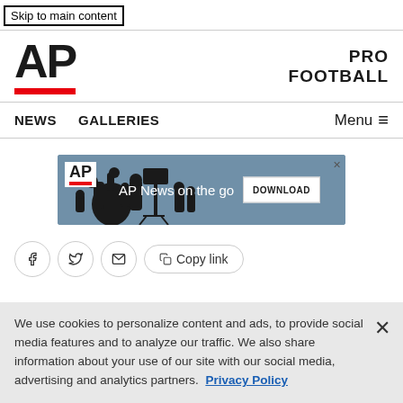Skip to main content
[Figure (logo): AP logo with bold 'AP' text and red underbar]
PRO FOOTBALL
NEWS   GALLERIES   Menu ≡
[Figure (screenshot): AP News on the go advertisement banner with Download button]
Social share icons: Facebook, Twitter, Email, Copy link
We use cookies to personalize content and ads, to provide social media features and to analyze our traffic. We also share information about your use of our site with our social media, advertising and analytics partners. Privacy Policy